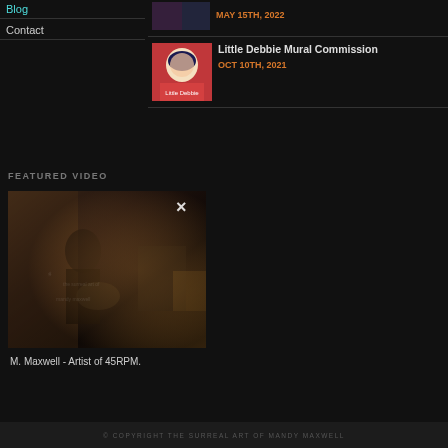Blog
Contact
[Figure (photo): Thumbnail image related to a blog post dated May 15th, 2022]
MAY 15TH, 2022
[Figure (photo): Little Debbie brand image thumbnail]
Little Debbie Mural Commission
OCT 10TH, 2021
FEATURED VIDEO
[Figure (photo): Video thumbnail showing M. Maxwell - artist working in a room with warm lighting and surreal elements]
M. Maxwell - Artist of 45RPM.
© COPYRIGHT THE SURREAL ART OF MANDY MAXWELL